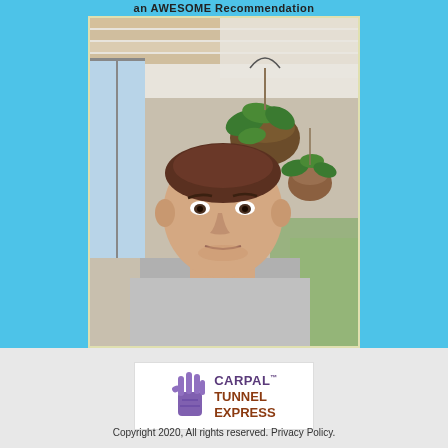an AWESOME Recommendation
[Figure (photo): A woman taking a selfie indoors on a porch or veranda. She has her hair pulled back. Behind her are hanging wicker baskets with green plants. The ceiling shows wooden paneling. Natural light comes from windows on the left and right.]
[Figure (logo): Carpal Tunnel Express logo featuring a purple hand icon and the text CARPAL TUNNEL EXPRESS in purple and brown colors.]
Copyright 2020, All rights reserved. Privacy Policy.